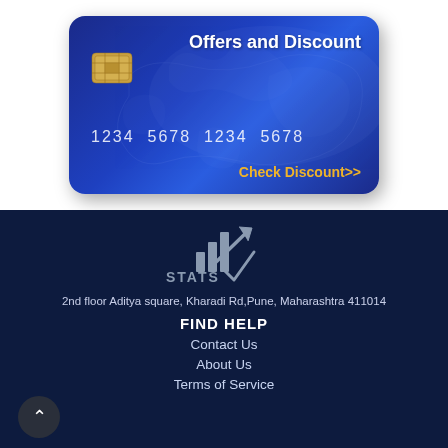[Figure (illustration): A blue credit card with gold chip, card number 1234 5678 1234 5678, title 'Offers and Discount', and a 'Check Discount>>' link in gold text. World map visible in background of card.]
[Figure (logo): STATS Market Research logo with bar chart and checkmark arrow icon in grey/gold tones on dark navy background.]
2nd floor Aditya square, Kharadi Rd,Pune, Maharashtra 411014
FIND HELP
Contact Us
About Us
Terms of Service